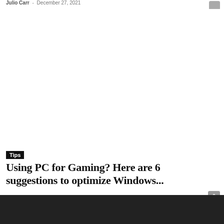Julio Carr  -  December 27, 2021
Tips
Using PC for Gaming? Here are 6 suggestions to optimize Windows...
Julio Carr  -  December 27, 2021